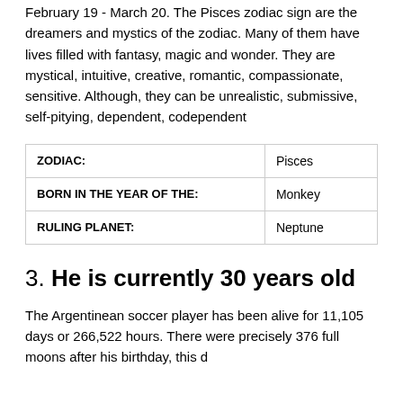February 19 - March 20. The Pisces zodiac sign are the dreamers and mystics of the zodiac. Many of them have lives filled with fantasy, magic and wonder. They are mystical, intuitive, creative, romantic, compassionate, sensitive. Although, they can be unrealistic, submissive, self-pitying, dependent, codependent
|  |  |
| --- | --- |
| ZODIAC: | Pisces |
| BORN IN THE YEAR OF THE: | Monkey |
| RULING PLANET: | Neptune |
3. He is currently 30 years old
The Argentinean soccer player has been alive for 11,105 days or 266,522 hours. There were precisely 376 full moons after his birthday, this d...